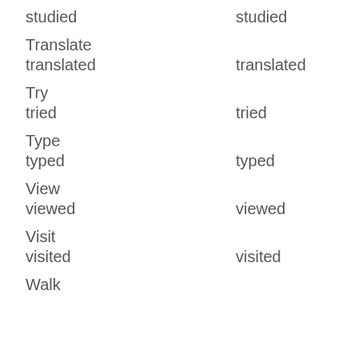studied / studied
Translate
translated / translated
Try
tried / tried
Type
typed / typed
View
viewed / viewed
Visit
visited / visited
Walk...